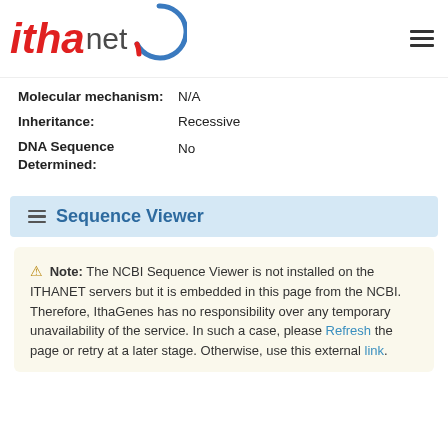[Figure (logo): ITHAnet logo with italic red 'itha' and gray 'net' text plus a blue-red circular arc, and a hamburger menu icon on the right]
Molecular mechanism: N/A
Inheritance: Recessive
DNA Sequence Determined: No
☰ Sequence Viewer
⚠ Note: The NCBI Sequence Viewer is not installed on the ITHANET servers but it is embedded in this page from the NCBI. Therefore, IthaGenes has no responsibility over any temporary unavailability of the service. In such a case, please Refresh the page or retry at a later stage. Otherwise, use this external link.